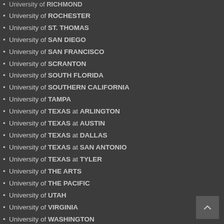University of RICHMOND
University of ROCHESTER
University of ST. THOMAS
University of SAN DIEGO
University of SAN FRANCISCO
University of SCRANTON
University of SOUTH FLORIDA
University of SOUTHERN CALIFORNIA
University of TAMPA
University of TEXAS at ARLINGTON
University of TEXAS at AUSTIN
University of TEXAS at DALLAS
University of TEXAS at SAN ANTONIO
University of TEXAS at TYLER
University of THE ARTS
University of THE PACIFIC
University of UTAH
University of VIRGINIA
University of WASHINGTON
VIRGINIA Coll...